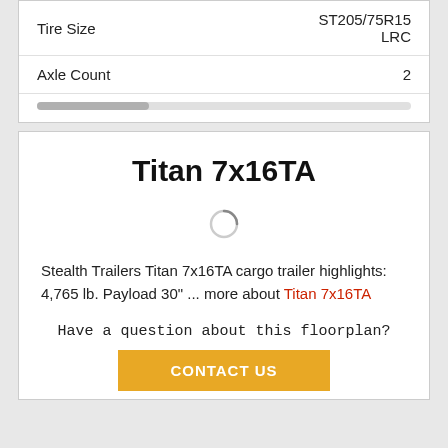|  |  |
| --- | --- |
| Tire Size | ST205/75R15 LRC |
| Axle Count | 2 |
Titan 7x16TA
[Figure (other): Loading spinner icon]
Stealth Trailers Titan 7x16TA cargo trailer highlights: 4,765 lb. Payload 30" ... more about Titan 7x16TA
Have a question about this floorplan?
CONTACT US